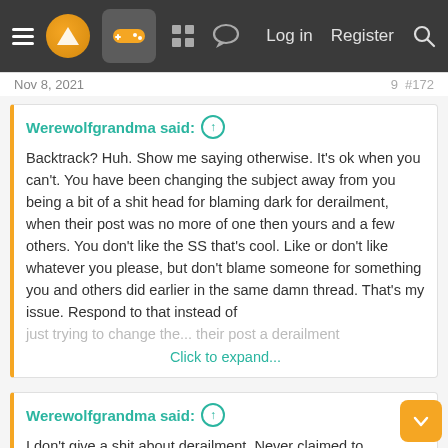Nav bar with hamburger menu, logo, game controller icon, grid icon, chat icon, Log in, Register, Search
Nov 8, 2021
Werewolfgrandma said: ↑
Backtrack? Huh. Show me saying otherwise. It's ok when you can't. You have been changing the subject away from you being a bit of a shit head for blaming dark for derailment, when their post was no more of one then yours and a few others. You don't like the SS that's cool. Like or don't like whatever you please, but don't blame someone for something you and others did earlier in the same damn thread. That's my issue. Respond to that instead of just trying to change the... Click to expand...
Werewolfgrandma said: ↑
I don't give a shit about derailment. Never claimed to.
Make up your mind, you don't care about the derailment or not? If you don't care why keep going on about it..